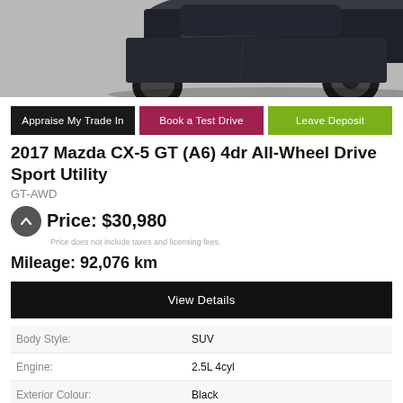[Figure (photo): Top portion of a dark-colored Mazda CX-5 SUV photographed from above on a grey asphalt surface, showing the roof, windshield, and front wheels.]
Appraise My Trade In
Book a Test Drive
Leave Deposit
2017 Mazda CX-5 GT (A6) 4dr All-Wheel Drive Sport Utility
GT-AWD
Price: $30,980
Price does not include taxes and licensing fees.
Mileage: 92,076 km
View Details
|  |  |
| --- | --- |
| Body Style: | SUV |
| Engine: | 2.5L 4cyl |
| Exterior Colour: | Black |
| VIN: | JM3KFBDL9H0143149 |
| Transmission: | Automatic |